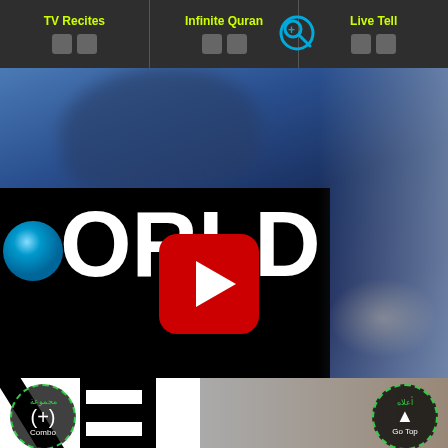[Figure (screenshot): Navigation bar with TV Recites, Infinite Quran, and Live Tell tabs with yellow labels and dark background, plus search magnifier icon]
[Figure (screenshot): Video thumbnail showing partial 'WORLD' logo text on black background over blurred blue studio scene, with YouTube play button overlay]
[Figure (screenshot): Lower section showing partial 'VE' letters in large bold black on white background, with blurred gray/beige background on right, Combo button bottom-left, Go Top button bottom-right]